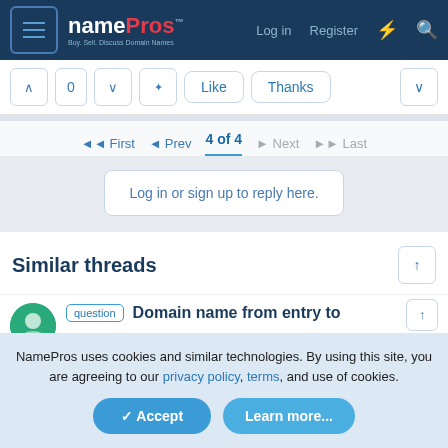namePros™ Buy. Sell. Discuss Domain Names. Log in  Register
[Figure (screenshot): Vote buttons: up arrow, 0 count, down arrow, move icon, Like button, Thanks button, and a chevron down on the right]
◄◄ First  ◄ Prev  4 of 4  ► Next  ►► Last
Log in or sign up to reply here.
Similar threads
question  Domain name from entry to
NamePros uses cookies and similar technologies. By using this site, you are agreeing to our privacy policy, terms, and use of cookies.